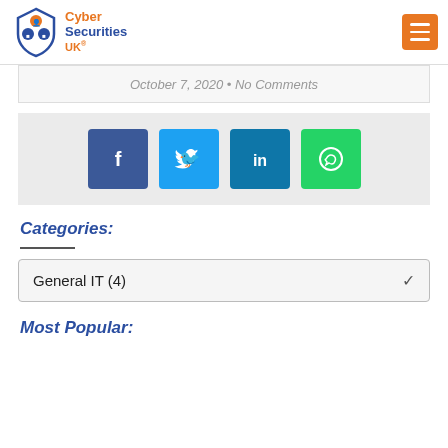[Figure (logo): Cyber Securities UK logo with shield icon and orange/blue text]
October 7, 2020 • No Comments
[Figure (infographic): Social share buttons: Facebook, Twitter, LinkedIn, WhatsApp]
Categories:
General IT (4)
Most Popular: